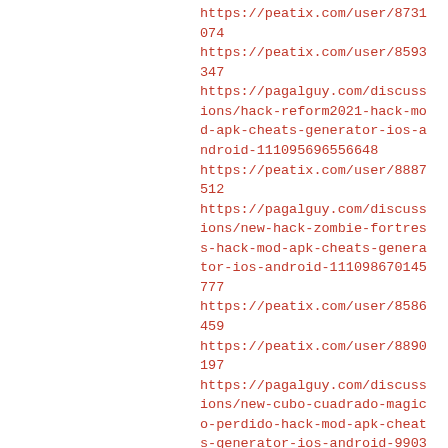https://peatix.com/user/8731074
https://peatix.com/user/8593347
https://pagalguy.com/discussions/hack-reform2021-hack-mod-apk-cheats-generator-ios-android-111095696556648
https://peatix.com/user/8887512
https://pagalguy.com/discussions/new-hack-zombie-fortress-hack-mod-apk-cheats-generator-ios-android-111098670145777
https://peatix.com/user/8586459
https://peatix.com/user/8890197
https://pagalguy.com/discussions/new-cubo-cuadrado-magico-perdido-hack-mod-apk-cheats-generator-ios-android-99032969138469
https://peatix.com/user/9053290
https://pagalguy.com/discussions/new-hack-10-hack-mod-apk-cheats-generator-ios-android-109261203172615
https://peatix.com/user/9040947
https://peatix.com/user/9041736
https://peatix.com/user/9045767
https://peatix.com/user/9050999
https://pagalguy.com/discussions/update-baldurs-gate-hack-mod-apk-cheats-generator-ios-android-96079489976789